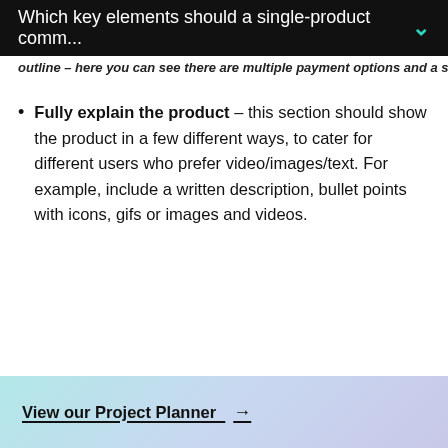Which key elements should a single-product comm...
outline – here you can see there are multiple payment options and a s...
Fully explain the product – this section should show the product in a few different ways, to cater for different users who prefer video/images/text. For example, include a written description, bullet points with icons, gifs or images and videos.
View our Project Planner →